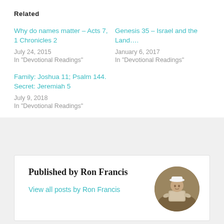Related
Why do names matter – Acts 7, 1 Chronicles 2
July 24, 2015
In "Devotional Readings"
Genesis 35 – Israel and the Land….
January 6, 2017
In "Devotional Readings"
Family: Joshua 11; Psalm 144. Secret: Jeremiah 5
July 9, 2018
In "Devotional Readings"
Published by Ron Francis
View all posts by Ron Francis
[Figure (photo): Circular avatar photo of Ron Francis, a person crouching outdoors in a natural/dry landscape setting, wearing a white hat]